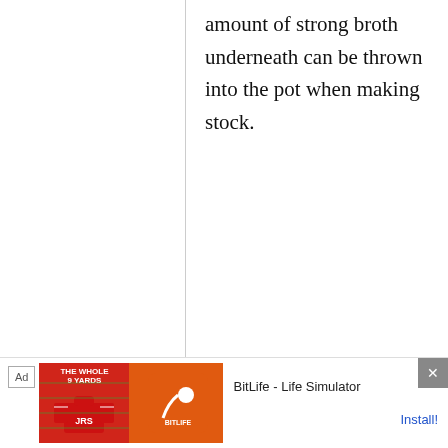amount of strong broth underneath can be thrown into the pot when making stock.
The Elf
14 April, 2014 - 16:55
permalink
Re: A matter of (chicken) perspective, plus my method for ...
[Figure (other): Advertisement banner: The Whole 9 Yards and BitLife - Life Simulator with Install button]